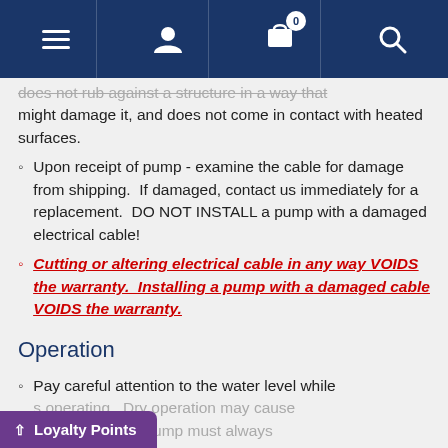Navigation bar with menu, user, cart (0), and search icons
does not rub against a structure in a way that might damage it, and does not come in contact with heated surfaces.
Upon receipt of pump - examine the cable for damage from shipping. If damaged, contact us immediately for a replacement. DO NOT INSTALL a pump with a damaged electrical cable!
Cutting or altering electrical cable in any way VOIDS the warranty. Installing a pump with a damaged cable VOIDS the warranty.
Operation
Pay careful attention to the water level while pump is operating. Dry operation may cause malfunction. Pump must always